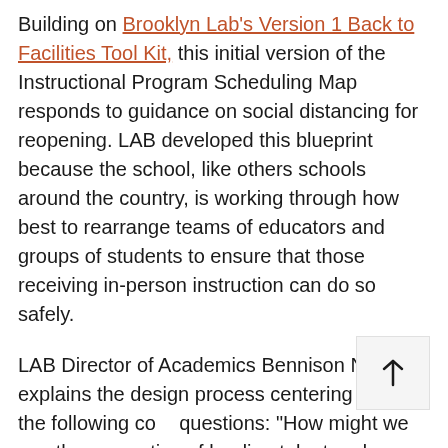Building on Brooklyn Lab's Version 1 Back to Facilities Tool Kit, this initial version of the Instructional Program Scheduling Map responds to guidance on social distancing for reopening. LAB developed this blueprint because the school, like others schools around the country, is working through how best to rearrange teams of educators and groups of students to ensure that those receiving in-person instruction can do so safely.
LAB Director of Academics Bennison Ntsakey explains the design process centering around the following core questions: "How might we use the expertise of leading talent and special education organizations to help